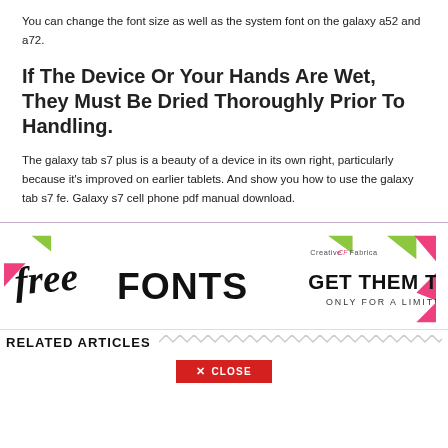You can change the font size as well as the system font on the galaxy a52 and a72.
If The Device Or Your Hands Are Wet, They Must Be Dried Thoroughly Prior To Handling.
The galaxy tab s7 plus is a beauty of a device in its own right, particularly because it's improved on earlier tablets. And show you how to use the galaxy tab s7 fe. Galaxy s7 cell phone pdf manual download.
[Figure (infographic): Advertisement banner: 'free FONTS - Creative Fabrica - GET THEM TODAY ONLY FOR A LIMITED TIME' with decorative green and pink corner shapes]
RELATED ARTICLES
✕ CLOSE